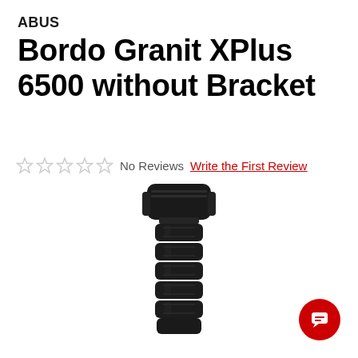ABUS
Bordo Granit XPlus 6500 without Bracket
No Reviews  Write the First Review
[Figure (photo): Black ABUS Bordo Granit XPlus 6500 folding bike lock without bracket, shown folded vertically with lock head at top]
[Figure (other): Red circular chat/message button with speech bubble icon]